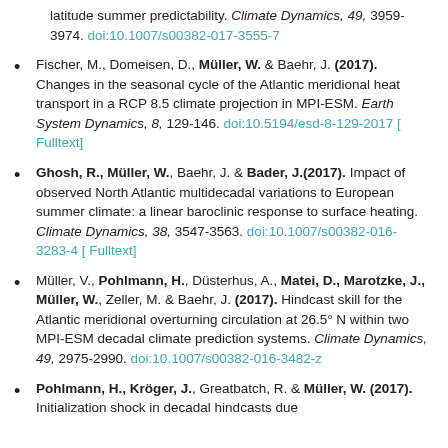latitude summer predictability. Climate Dynamics, 49, 3959-3974. doi:10.1007/s00382-017-3555-7
Fischer, M., Domeisen, D., Müller, W. & Baehr, J. (2017). Changes in the seasonal cycle of the Atlantic meridional heat transport in a RCP 8.5 climate projection in MPI-ESM. Earth System Dynamics, 8, 129-146. doi:10.5194/esd-8-129-2017 [ Fulltext]
Ghosh, R., Müller, W., Baehr, J. & Bader, J.(2017). Impact of observed North Atlantic multidecadal variations to European summer climate: a linear baroclinic response to surface heating. Climate Dynamics, 38, 3547-3563. doi:10.1007/s00382-016-3283-4 [ Fulltext]
Müller, V., Pohlmann, H., Düsterhus, A., Matei, D., Marotzke, J., Müller, W., Zeller, M. & Baehr, J. (2017). Hindcast skill for the Atlantic meridional overturning circulation at 26.5° N within two MPI-ESM decadal climate prediction systems. Climate Dynamics, 49, 2975-2990. doi:10.1007/s00382-016-3482-z
Pohlmann, H., Kröger, J., Greatbatch, R. & Müller, W. (2017). Initialization shock in decadal hindcasts due